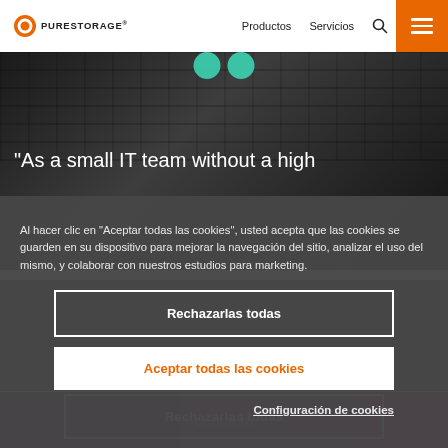PURESTORAGE — Productos  Servicios
[Figure (screenshot): Hero background image of a dark stone/concrete wall texture with two teal/green circles at the top center]
"As a small IT team without a high
Al hacer clic en "Aceptar todas las cookies", usted acepta que las cookies se guarden en su dispositivo para mejorar la navegación del sitio, analizar el uso del mismo, y colaborar con nuestros estudios para marketing.
Rechazarlas todas
Aceptar todas las cookies
Configuración de cookies
contacto